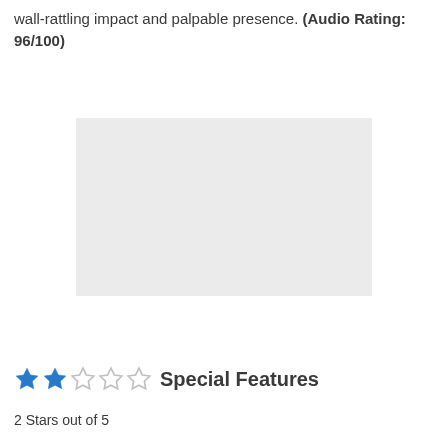wall-rattling impact and palpable presence. (Audio Rating: 96/100)
[Figure (photo): Light gray placeholder image rectangle]
★★☆☆☆ Special Features
2 Stars out of 5